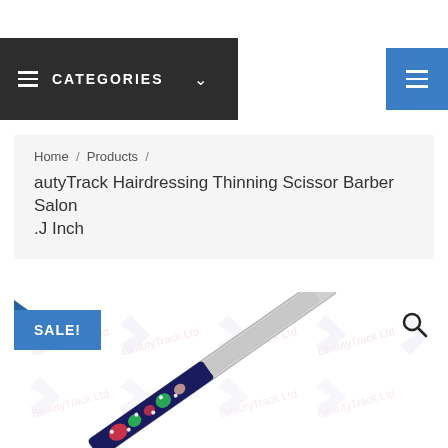CATEGORIES
Home / Products / autyTrack Hairdressing Thinning Scissor Barber Salon .J Inch
SALE!
[Figure (photo): A hairdressing thinning scissor with floral pattern decoration on the handle, shown diagonally. Background has repeated BeautyTrack watermarks.]